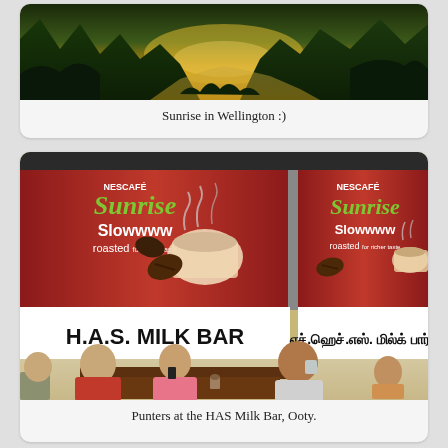[Figure (photo): Sunrise landscape photo showing a mountain valley with lush green forested hills and a golden sky at sunrise, taken in Wellington]
Sunrise in Wellington :)
[Figure (photo): Photo of people sitting at a table inside the HAS Milk Bar in Ooty, with Nescafe Sunrise Slowwww roasted advertising banners visible on the wall behind them, with text in English and Tamil]
Punters at the HAS Milk Bar, Ooty.